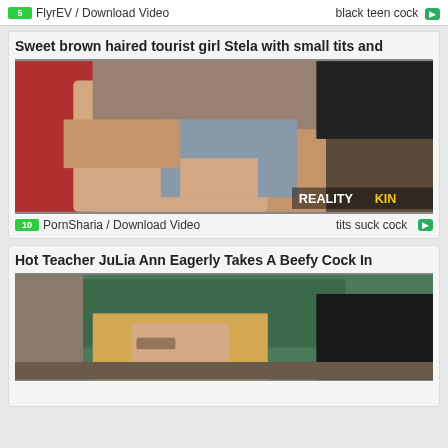FlyrEV / Download Video   black teen cock
Sweet brown haired tourist girl Stela with small tits and
[Figure (photo): Video thumbnail showing adult content]
PornSharia / Download Video   tits suck cock
Hot Teacher JuLia Ann Eagerly Takes A Beefy Cock In
[Figure (photo): Video thumbnail showing adult content]